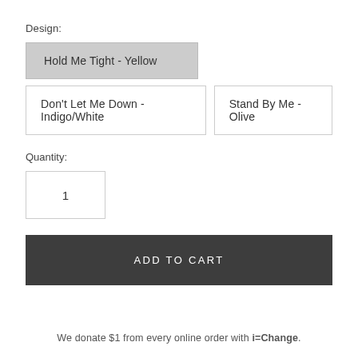Design:
Hold Me Tight - Yellow
Don't Let Me Down - Indigo/White
Stand By Me - Olive
Quantity:
1
ADD TO CART
We donate $1 from every online order with i=Change.